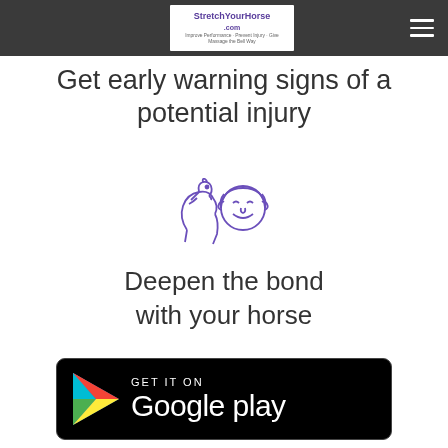[Figure (logo): StretchYourHorse.com logo in white box on dark navigation bar, with hamburger menu icon]
Get early warning signs of a potential injury
[Figure (illustration): Purple line drawing icon of a horse head and a person's face side by side]
Deepen the bond with your horse
[Figure (logo): Google Play store badge — GET IT ON Google play on black rounded rectangle background with colorful play triangle]